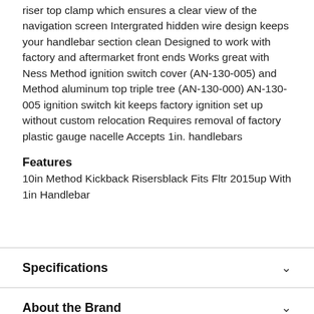riser top clamp which ensures a clear view of the navigation screen Intergrated hidden wire design keeps your handlebar section clean Designed to work with factory and aftermarket front ends Works great with Ness Method ignition switch cover (AN-130-005) and Method aluminum top triple tree (AN-130-000) AN-130-005 ignition switch kit keeps factory ignition set up without custom relocation Requires removal of factory plastic gauge nacelle Accepts 1in. handlebars
Features
10in Method Kickback Risersblack Fits Fltr 2015up With 1in Handlebar
Specifications
About the Brand
Shipping Information